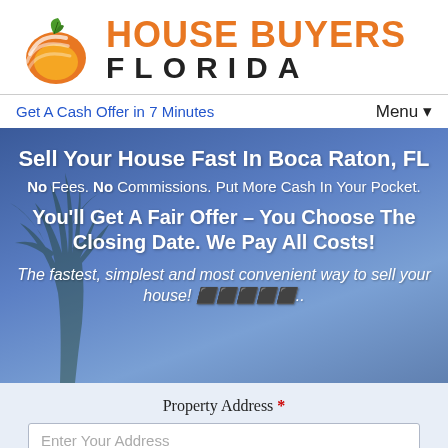[Figure (logo): House Buyers Florida logo with orange fruit/sphere graphic and green leaf, company name in orange and black text]
Get A Cash Offer in 7 Minutes
Menu ▼
[Figure (photo): Hero banner with blue sky, clouds, and palm tree silhouette background]
Sell Your House Fast In Boca Raton, FL
No Fees. No Commissions. Put More Cash In Your Pocket.
You'll Get A Fair Offer – You Choose The Closing Date. We Pay All Costs!
The fastest, simplest and most convenient way to sell your house! 🏠🏠🏠🏠🏠..
Property Address *
Enter Your Address